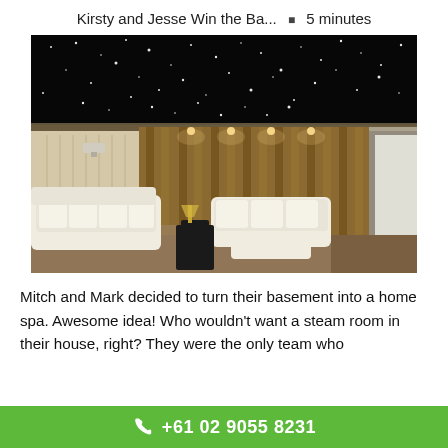Kirsty and Jesse Win the Ba...  •  5 minutes
[Figure (photo): Luxury home cinema room with star-lit black ceiling, plush white sofas and chaise lounges, gold/bronze floor-to-ceiling curtains, warm accent lighting, and a projection screen on the right side.]
Mitch and Mark decided to turn their basement into a home spa. Awesome idea! Who wouldn't want a steam room in their house, right? They were the only team who
+61 02 9055 8231